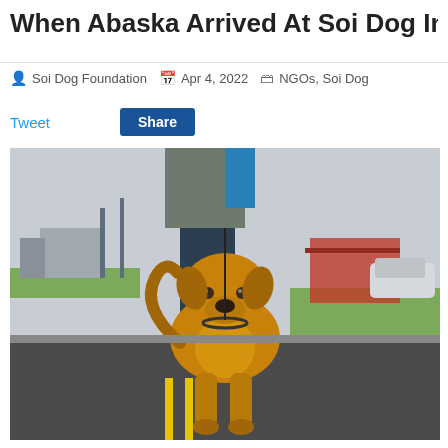When Abaska Arrived At Soi Dog In La
Soi Dog Foundation   Apr 4, 2022   NGOs, Soi Dog
Tweet   Share
[Figure (photo): A golden-brown dog standing on an asphalt road with yellow lines, being held by a person visible from waist down. Background shows a grey sky, green grass, and buildings/cars.]